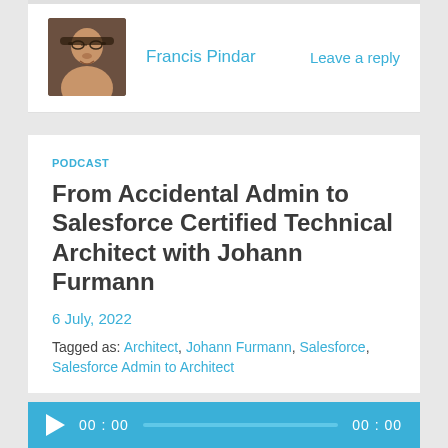[Figure (photo): Profile photo of Francis Pindar, a man with glasses smiling]
Francis Pindar
Leave a reply
PODCAST
From Accidental Admin to Salesforce Certified Technical Architect with Johann Furmann
6 July, 2022
Tagged as: Architect, Johann Furmann, Salesforce,
Salesforce Admin to Architect
[Figure (other): Audio player bar with play button, time 00:00, progress track, and end time 00:00]